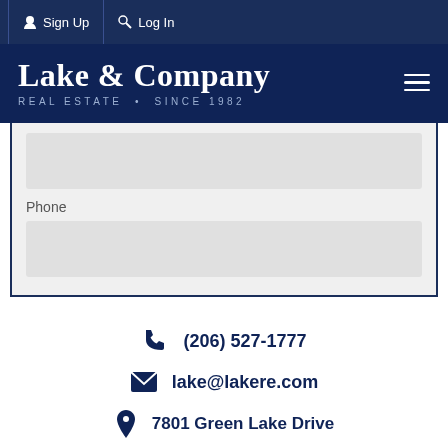Sign Up  Log In
Lake & Company REAL ESTATE • SINCE 1982
Phone
(206) 527-1777
lake@lakere.com
7801 Green Lake Drive